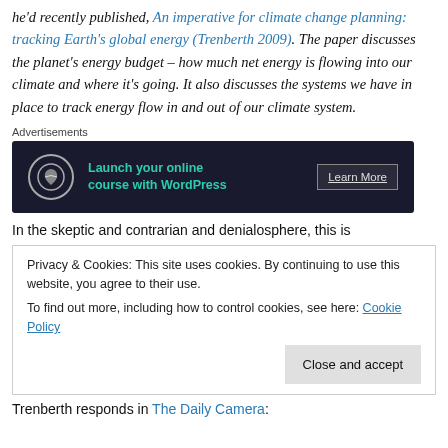he'd recently published, An imperative for climate change planning: tracking Earth's global energy (Trenberth 2009). The paper discusses the planet's energy budget – how much net energy is flowing into our climate and where it's going. It also discusses the systems we have in place to track energy flow in and out of our climate system.
[Figure (other): Advertisement banner: Launch your online course with WordPress. Dark background with teal text and Learn More button.]
In the skeptic and contrarian and denialosphere, this is
Privacy & Cookies: This site uses cookies. By continuing to use this website, you agree to their use. To find out more, including how to control cookies, see here: Cookie Policy
Trenberth responds in The Daily Camera: